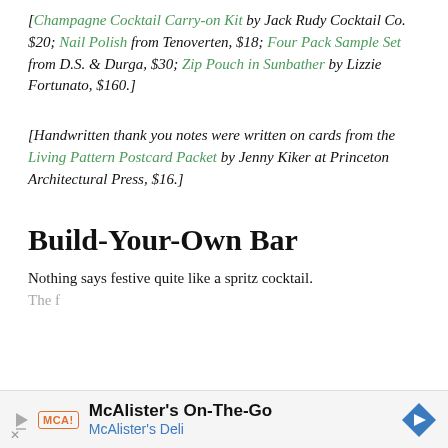[Champagne Cocktail Carry-on Kit by Jack Rudy Cocktail Co. $20; Nail Polish from Tenoverten, $18; Four Pack Sample Set from D.S. & Durga, $30; Zip Pouch in Sunbather by Lizzie Fortunato, $160.]
[Handwritten thank you notes were written on cards from the Living Pattern Postcard Packet by Jenny Kiker at Princeton Architectural Press, $16.]
Build-Your-Own Bar
Nothing says festive quite like a spritz cocktail. The f...
[Figure (infographic): McAlister's Deli advertisement banner: McAlister's On-The-Go, McAlister's Deli, with logo and navigation icon]